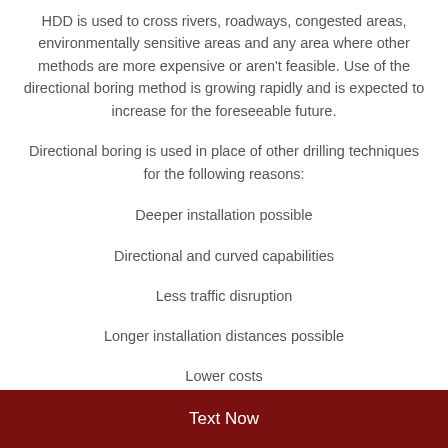HDD is used to cross rivers, roadways, congested areas, environmentally sensitive areas and any area where other methods are more expensive or aren't feasible. Use of the directional boring method is growing rapidly and is expected to increase for the foreseeable future.
Directional boring is used in place of other drilling techniques for the following reasons:
Deeper installation possible
Directional and curved capabilities
Less traffic disruption
Longer installation distances possible
Lower costs
Text Now